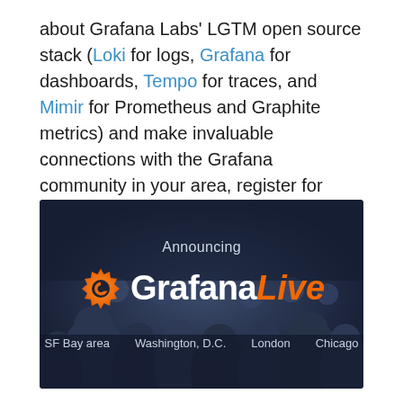about Grafana Labs' LGTM open source stack (Loki for logs, Grafana for dashboards, Tempo for traces, and Mimir for Prometheus and Graphite metrics) and make invaluable connections with the Grafana community in your area, register for Grafana Live today.
[Figure (illustration): Dark banner image with crowd in background. Text reads 'Announcing' above the Grafana Live logo (orange Grafana gear icon, white 'Grafana' text, orange italic 'Live' text). Bottom row shows city names: SF Bay area, Washington, D.C., London, Chicago.]